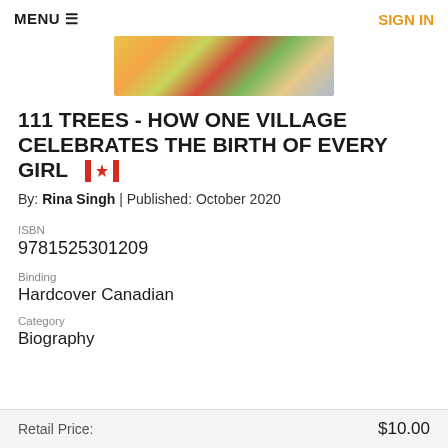MENU ☰     SIGN IN
[Figure (photo): Partial view of a colorful book cover with illustrated leaves and foliage in yellow, red, green tones]
111 TREES - HOW ONE VILLAGE CELEBRATES THE BIRTH OF EVERY GIRL 🇨🇦
By: Rina Singh | Published: October 2020
ISBN
9781525301209
Binding
Hardcover Canadian
Category
Biography
Retail Price:   $10.00